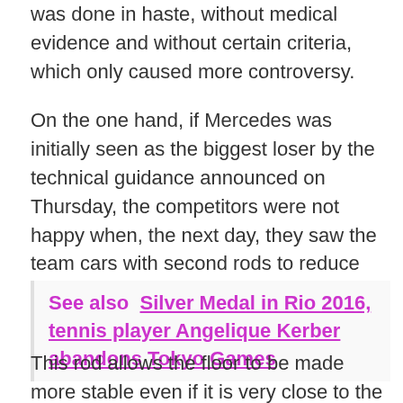was done in haste, without medical evidence and without certain criteria, which only caused more controversy.
On the one hand, if Mercedes was initially seen as the biggest loser by the technical guidance announced on Thursday, the competitors were not happy when, the next day, they saw the team cars with second rods to reduce floor movement, something that was only allowed back in the day Previous.
See also  Silver Medal in Rio 2016, tennis player Angelique Kerber abandons Tokyo Games
This rod allows the floor to be made more stable even if it is very close to the ground, which, in theory at least, would solve two problems at once: The car tends to jump less